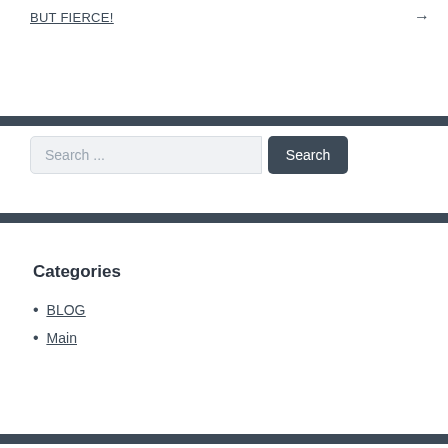BUT FIERCE!
→
Search ...
Search
Categories
BLOG
Main